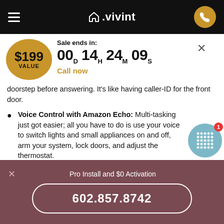vivint
Sale ends in: 00D 14H 24M 09S
Call now
doorstep before answering. It's like having caller-ID for the front door.
Voice Control with Amazon Echo: Multi-tasking just got easier; all you have to do is use your voice to switch lights and small appliances on and off, arm your system, lock doors, and adjust the thermostat.
Remote Access from Vivint Mobile: A top-rated
Pro Install and $0 Activation
602.857.8742